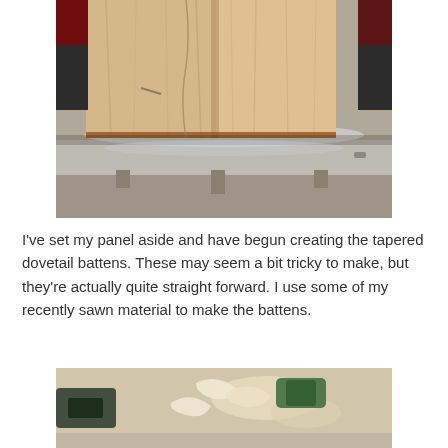[Figure (photo): Wooden boards laid out on a table surface, showing wood grain panels being prepared for a woodworking project with panel battens visible.]
I've set my panel aside and have begun creating the tapered dovetail battens.  These may seem a bit tricky to make, but they're actually quite straight forward.  I use some of my recently sawn material to make the battens.
[Figure (photo): Partial view of a woodworking workspace with tools and materials on a surface.]